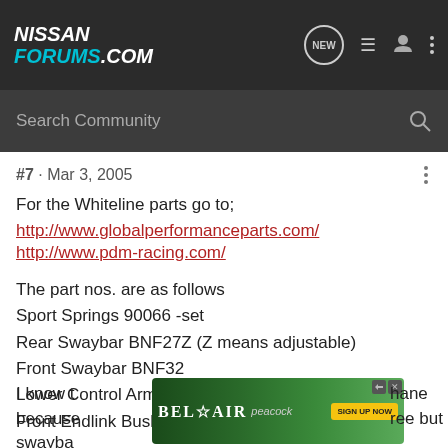NISSAN FORUMS.COM
#7 · Mar 3, 2005
For the Whiteline parts go to;
http://www.globalperformanceparts.com/
http://www.pdm-racing.com/
The part nos. are as follows
Sport Springs 90066 -set
Rear Swaybar BNF27Z (Z means adjustable)
Front Swaybar BNF32
Lower Control Arm Bushings KCA303 -set
Front Endlink Bushings W0007 -set
[Figure (photo): Bel Air Peacock advertisement banner with forest background, SIGN UP NOW button]
I know t[he...] because[...] hane swayba[r...] ree but